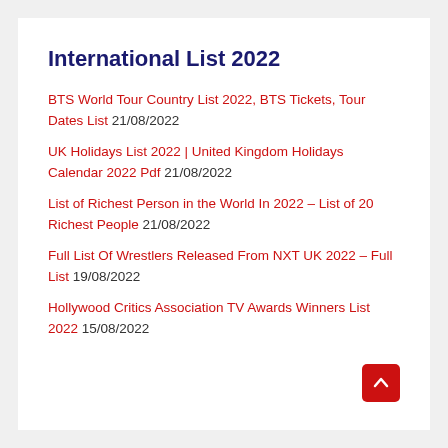International List 2022
BTS World Tour Country List 2022, BTS Tickets, Tour Dates List 21/08/2022
UK Holidays List 2022 | United Kingdom Holidays Calendar 2022 Pdf 21/08/2022
List of Richest Person in the World In 2022 – List of 20 Richest People 21/08/2022
Full List Of Wrestlers Released From NXT UK 2022 – Full List 19/08/2022
Hollywood Critics Association TV Awards Winners List 2022 15/08/2022